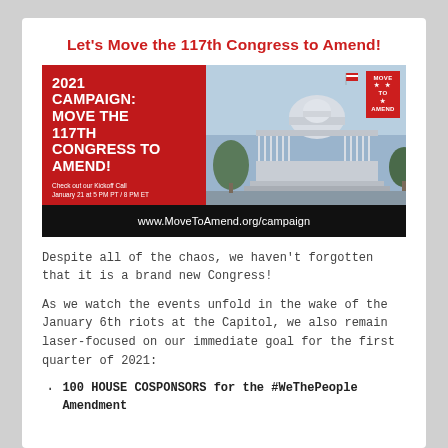Let's Move the 117th Congress to Amend!
[Figure (photo): Campaign banner image showing '2021 CAMPAIGN: MOVE THE 117TH CONGRESS TO AMEND!' text on red background alongside a photo of the US Capitol building. Includes Move to Amend logo and URL www.MoveToAmend.org/campaign at the bottom.]
Despite all of the chaos, we haven't forgotten that it is a brand new Congress!
As we watch the events unfold in the wake of the January 6th riots at the Capitol, we also remain laser-focused on our immediate goal for the first quarter of 2021:
100 HOUSE COSPONSORS for the #WeThePeople Amendment